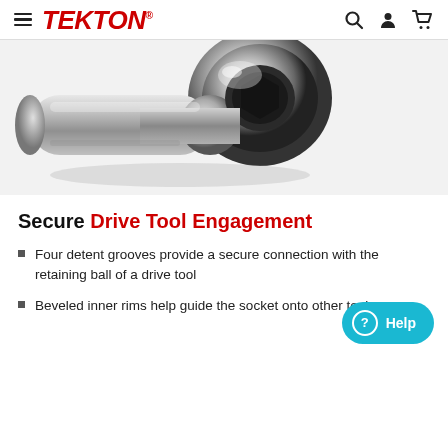TEKTON
[Figure (photo): Close-up photo of a chrome socket drive tool showing the metallic shiny surface and drive engagement area]
Secure Drive Tool Engagement
Four detent grooves provide a secure connection with the retaining ball of a drive tool
Beveled inner rims help guide the socket onto other tools